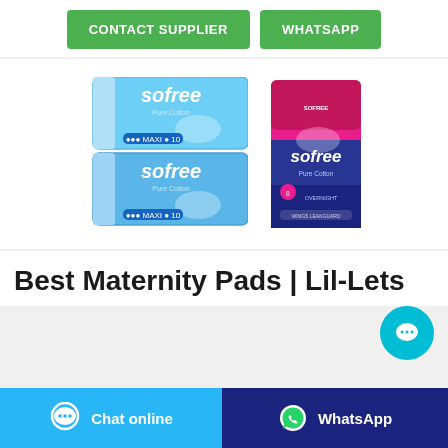[Figure (other): Two green buttons: CONTACT SUPPLIER and WHATSAPP]
[Figure (photo): Product photo showing two stacked blue Sofree Pure Cotton sanitary pad packages (10 count each) on the left, and one pink/blue Sofree Pure Cotton night pad package on the right]
Best Maternity Pads | Lil-Lets
[Figure (other): Cyan circular chat button with ellipsis icon]
[Figure (other): Two bottom buttons: Chat online (light blue) and WhatsApp (dark blue)]